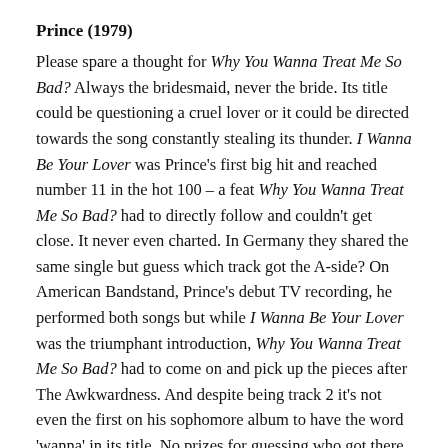Prince (1979)
Please spare a thought for Why You Wanna Treat Me So Bad? Always the bridesmaid, never the bride. Its title could be questioning a cruel lover or it could be directed towards the song constantly stealing its thunder. I Wanna Be Your Lover was Prince's first big hit and reached number 11 in the hot 100 – a feat Why You Wanna Treat Me So Bad? had to directly follow and couldn't get close. It never even charted. In Germany they shared the same single but guess which track got the A-side? On American Bandstand, Prince's debut TV recording, he performed both songs but while I Wanna Be Your Lover was the triumphant introduction, Why You Wanna Treat Me So Bad? had to come on and pick up the pieces after The Awkwardness. And despite being track 2 it's not even the first on his sophomore album to have the word 'wanna' in its title. No prizes for guessing who got there first. So what did our attention, strayed...